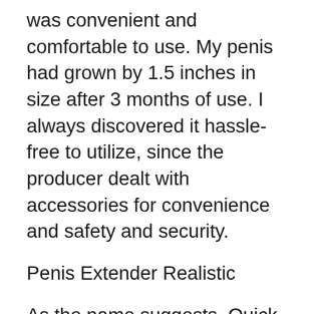was convenient and comfortable to use. My penis had grown by 1.5 inches in size after 3 months of use. I always discovered it hassle-free to utilize, since the producer dealt with accessories for convenience and safety and security.
Penis Extender Realistic
As the name suggests, Quick Extender Pro has the possible to enhance your penis dimension rapidly compared to other penis extenders.
You may notice a modification in your penis size in just 2 to 3 months.
According to the description, submit it with...